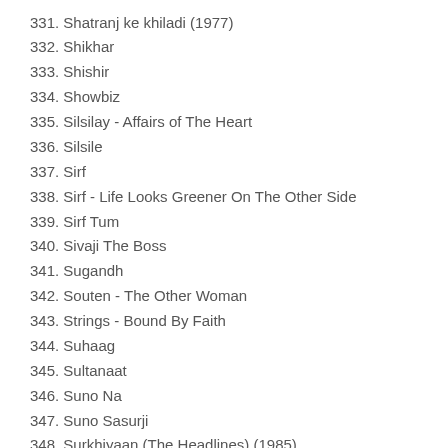331. Shatranj ke khiladi (1977)
332. Shikhar
333. Shishir
334. Showbiz
335. Silsilay - Affairs of The Heart
336. Silsile
337. Sirf
338. Sirf - Life Looks Greener On The Other Side
339. Sirf Tum
340. Sivaji The Boss
341. Sugandh
342. Souten - The Other Woman
343. Strings - Bound By Faith
344. Suhaag
345. Sultanaat
346. Suno Na
347. Suno Sasurji
348. Surkhiyaan (The Headlines) (1985)